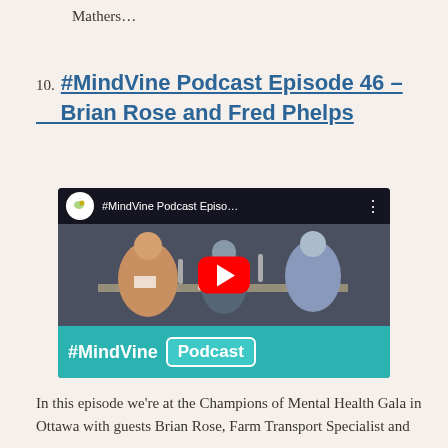Mathers…
10. #MindVine Podcast Episode 46 – Brian Rose and Fred Phelps
[Figure (screenshot): YouTube video thumbnail for #MindVine Podcast Episode 46. Shows three people seated at a table with microphones in a dimly lit event venue. A large red YouTube play button is centered on the image. The bottom displays '#MindVine Podcast' branding on a teal background. The Ontario Shores logo appears in the top-left corner.]
In this episode we're at the Champions of Mental Health Gala in Ottawa with guests Brian Rose, Farm Transport Specialist and